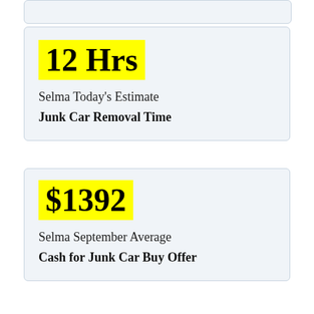12 Hrs
Selma Today’s Estimate
Junk Car Removal Time
$1392
Selma September Average
Cash for Junk Car Buy Offer